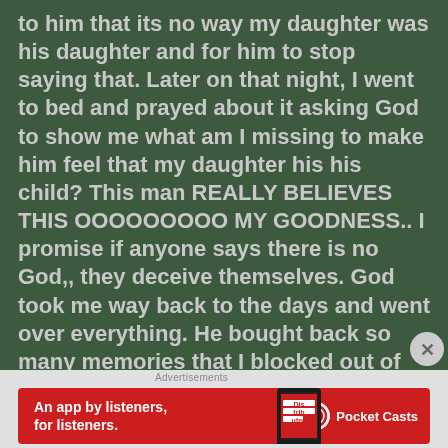to him that its no way my daughter was his daughter and for him to stop saying that. Later on that night, I went to bed and prayed about it asking God to show me what am I missing to make him feel that my daughter his his child?  This man REALLY BELIEVES THIS OOOOOOOOO MY GOODNESS.. I promise if anyone says there is no God,, they deceive themselves. God took me way back to the days and went over everything. He bought back so many memories that I blocked out of my mind. I guess I didn't want to think about it or even deal with that anymore and never thought it through. But I wanted to tell this man NO
[Figure (screenshot): Advertisement banner: Pocket Casts app ad with red background, phone image, text 'An app by listeners, for listeners.']